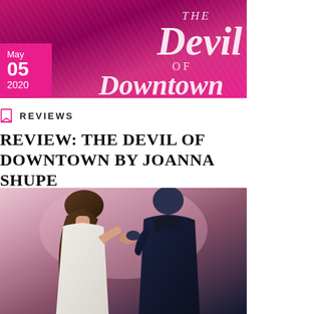[Figure (photo): Book cover for 'The Devil of Downtown' with pink/magenta background and stylized serif title text. Date badge showing May 05 2020 overlaid on the left side.]
REVIEWS
REVIEW: THE DEVIL OF DOWNTOWN BY JOANNA SHUPE
[Figure (photo): Photo of a couple from behind, woman in white dress with long brown hair, man in dark navy suit, appearing to embrace or dance.]